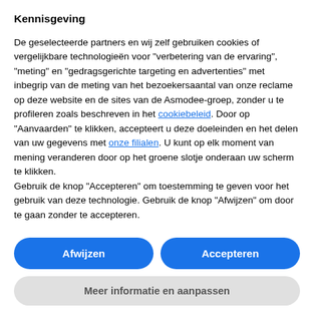Kennisgeving
De geselecteerde partners en wij zelf gebruiken cookies of vergelijkbare technologieën voor "verbetering van de ervaring", "meting" en "gedragsgerichte targeting en advertenties" met inbegrip van de meting van het bezoekersaantal van onze reclame op deze website en de sites van de Asmodee-groep, zonder u te profileren zoals beschreven in het cookiebeleid. Door op "Aanvaarden" te klikken, accepteert u deze doeleinden en het delen van uw gegevens met onze filialen. U kunt op elk moment van mening veranderen door op het groene slotje onderaan uw scherm te klikken.
Gebruik de knop "Accepteren" om toestemming te geven voor het gebruik van deze technologie. Gebruik de knop "Afwijzen" om door te gaan zonder te accepteren.
Afwijzen
Accepteren
Meer informatie en aanpassen